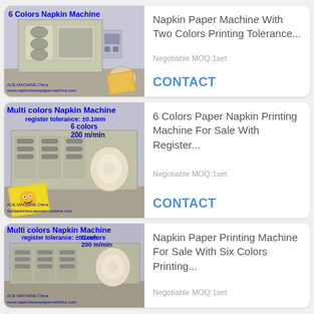[Figure (photo): 6 Colors Napkin Machine product photo with blue text overlay label, showing industrial printing machine]
Napkin Paper Machine With Two Colors Printing Tolerance...
Negotiable MOQ:1set
CONTACT
[Figure (photo): Multi colors Napkin Machine photo with specs: register tolerance ±0.1mm, 6 colors, 200 m/min]
6 Colors Paper Napkin Printing Machine For Sale With Register...
Negotiable MOQ:1set
CONTACT
[Figure (photo): Multi colors Napkin Machine photo with specs: register tolerance ±0.1mm, 6 colors, 200 m/min]
Napkin Paper Printing Machine For Sale With Six Colors Printing...
Negotiable MOQ:1set